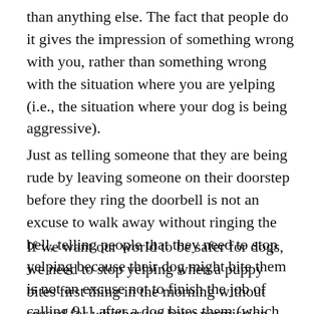than anything else. The fact that people do it gives the impression of something wrong with you, rather than something wrong with the situation where you are yelping (i.e., the situation where your dog is being aggressive).
Just as telling someone that they are being rude by leaving someone on their doorstep before they ring the doorbell is not an excuse to walk away without ringing the bell, telling people that they need to stop yelping because their dog might bite them is not an excuse not to finish the job of calling 911 after a dog bites them (which isn't an excuse either).
If we want our world to be safer for dogs, we need to stop yelping when a puppy bites first thing in the morning without regard for whether we have permission from whoever lives next door or whether we have any reason whatsoever to